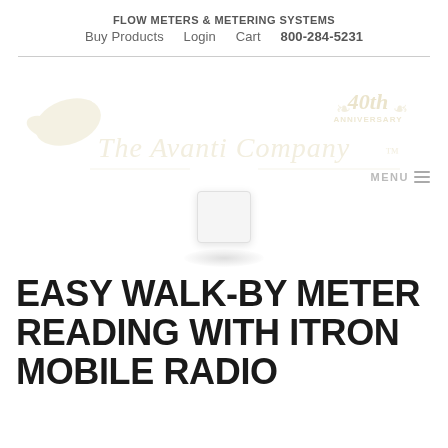FLOW METERS & METERING SYSTEMS
Buy Products   Login   Cart   800-284-5231
[Figure (logo): The Avanti Company logo with dove/leaf icon and 40th Anniversary text, in light gold/tan watermark style]
EASY WALK-BY METER READING WITH ITRON MOBILE RADIO